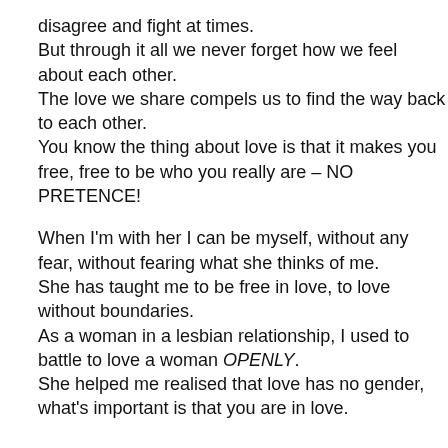disagree and fight at times.
But through it all we never forget how we feel about each other.
The love we share compels us to find the way back to each other.
You know the thing about love is that it makes you free, free to be who you really are – NO PRETENCE!

When I'm with her I can be myself, without any fear, without fearing what she thinks of me.
She has taught me to be free in love, to love without boundaries.
As a woman in a lesbian relationship, I used to battle to love a woman OPENLY.
She helped me realised that love has no gender, what's important is that you are in love.